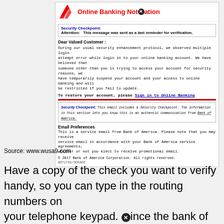[Figure (screenshot): Bank of America phishing email screenshot showing Online Banking Notification with security checkpoint and sign in link]
Source: www.wusa9.com
Have a copy of the check you want to verify handy, so you can type in the routing numbers on your telephone keypad. Since the bank of